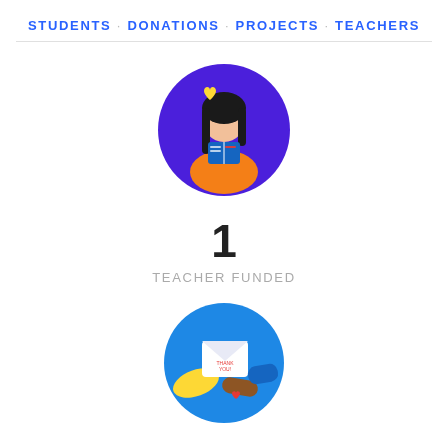STUDENTS · DONATIONS · PROJECTS · TEACHERS
[Figure (illustration): Circular illustration of a woman with long dark hair wearing an orange top, reading a blue book, with a yellow heart above, on a purple background.]
1
TEACHER FUNDED
[Figure (illustration): Circular illustration of two hands exchanging a thank-you card with a red heart, on a blue background with one yellow hand and one brown hand.]
6
DONORS